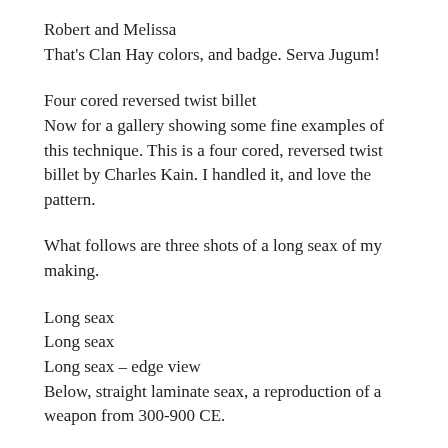Robert and Melissa
That's Clan Hay colors, and badge. Serva Jugum!
Four cored reversed twist billet
Now for a gallery showing some fine examples of this technique. This is a four cored, reversed twist billet by Charles Kain. I handled it, and love the pattern.
What follows are three shots of a long seax of my making.
Long seax
Long seax
Long seax – edge view
Below, straight laminate seax, a reproduction of a weapon from 300-900 CE.
Straight laminate seax, a reproduction of a weapon from 300-900 CE